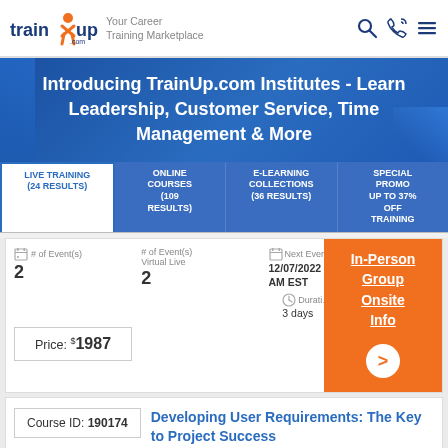[Figure (logo): TrainUp.com logo with orange figure and blue text]
Your Career Training Marketplace
Introducing TrainUp.com Institutes - Learn Leadership, Customer Service, Time Management & More
LIVE TRAINING (24 RESULTS)
ONLINE COURSES (109 RESULTS)
E-LEARNING COLLECTIONS (36 RESULTS)
SPECIAL PROMO UP TO 37% OFF TRAINING
# of Event(s)
2
# of Event(s) Virtual Live
2
Next Event 12/07/2022 AM EST
Duration
3 days
In-Person Group Onsite Info
Price: $1987
Course ID: 190174
Developing User Requirements: The Key to Project Success